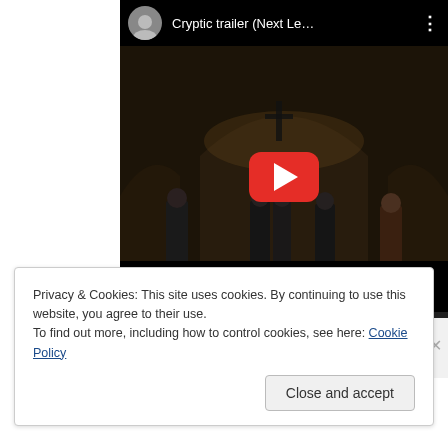[Figure (screenshot): YouTube embedded video player showing a video titled 'Cryptic trailer (Next Le...' with a dark cinematic scene featuring people standing in a church-like arched interior. A red YouTube play button is centered on the video. The player has a black top bar with a circular avatar thumbnail, video title, and three-dot menu icon.]
Privacy & Cookies: This site uses cookies. By continuing to use this website, you agree to their use.
To find out more, including how to control cookies, see here: Cookie Policy
Close and accept